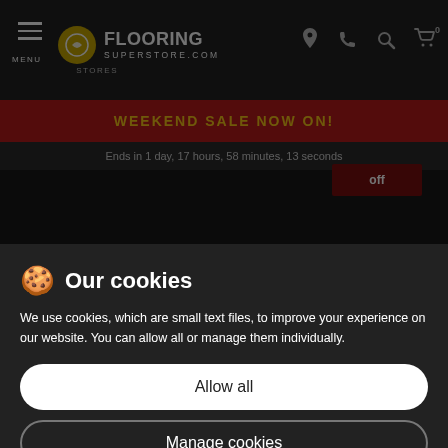MENU | Flooring Superstore | STORES
WEEKEND SALE NOW ON!
Ends in 1 day, 17 hours, 58 minutes, 13 seconds
🍪 Our cookies
We use cookies, which are small text files, to improve your experience on our website. You can allow all or manage them individually.
Allow all
Manage cookies
[Figure (screenshot): Trustpilot logo with green star in background]
Five star reviews
[Figure (screenshot): VIEW in Your Room button with eye icon]
Wiltshire
Stone Oak
Full Price: £15.99/m²